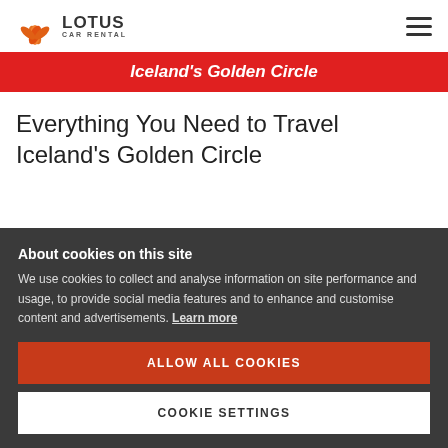Lotus Car Rental
Iceland's Golden Circle
Everything You Need to Travel Iceland's Golden Circle
About cookies on this site
We use cookies to collect and analyse information on site performance and usage, to provide social media features and to enhance and customise content and advertisements. Learn more
ALLOW ALL COOKIES
COOKIE SETTINGS